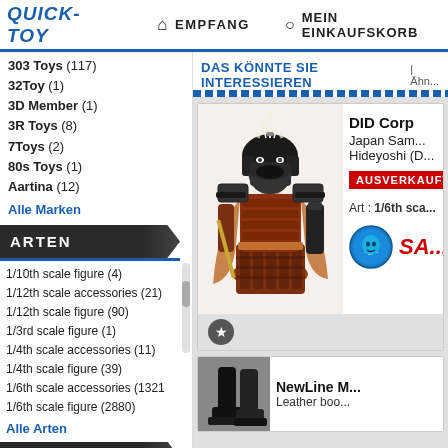QUICK-TOY | EMPFANG | MEIN EINKAUFSKORB
303 Toys (117)
32Toy (1)
3D Member (1)
3R Toys (8)
7Toys (2)
80s Toys (1)
Aartina (12)
Alle Marken
ARTEN
1/10th scale figure (4)
1/12th scale accessories (21)
1/12th scale figure (90)
1/3rd scale figure (1)
1/4th scale accessories (11)
1/4th scale figure (39)
1/6th scale accessories (1321)
1/6th scale figure (2880)
Alle Arten
ZUBEHÖR
DAS KÖNNTE SIE INTERESSIEREN | Ähn...
DID Corp
Japan Samurai Hideyoshi (D...
AUSVERKAUFT
Art : 1/6th sca...
NewLine M...
Leather boo...